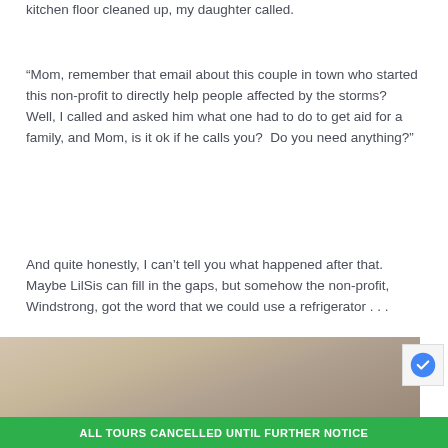kitchen floor cleaned up, my daughter called.
“Mom, remember that email about this couple in town who started this non-profit to directly help people affected by the storms?  Well, I called and asked him what one had to do to get aid for a family, and Mom, is it ok if he calls you?  Do you need anything?”
And quite honestly, I can’t tell you what happened after that.  Maybe LilSis can fill in the gaps, but somehow the non-profit, Windstrong, got the word that we could use a refrigerator . . .
[Figure (photo): Partial photo of an interior room (kitchen or hallway), partially visible at the bottom of the page]
ALL TOURS CANCELLED UNTIL FURTHER NOTICE